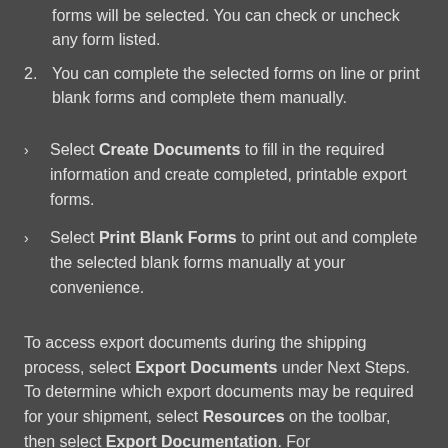forms will be selected. You can check or uncheck any form listed.
2. You can complete the selected forms on line or print blank forms and complete them manually.
Select Create Documents to fill in the required information and create completed, printable export forms.
Select Print Blank Forms to print out and complete the selected blank forms manually at your convenience.
To access export documents during the shipping process, select Export Documents under Next Steps. To determine which export documents may be required for your shipment, select Resources on the toolbar, then select Export Documentation. For